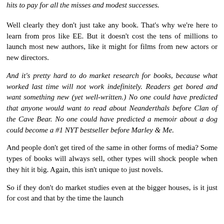hits to pay for all the misses and modest successes.
Well clearly they don't just take any book. That's why we're here to learn from pros like EE. But it doesn't cost the tens of millions to launch most new authors, like it might for films from new actors or new directors.
And it's pretty hard to do market research for books, because what worked last time will not work indefinitely. Readers get bored and want something new (yet well-written.) No one could have predicted that anyone would want to read about Neanderthals before Clan of the Cave Bear. No one could have predicted a memoir about a dog could become a #1 NYT bestseller before Marley & Me.
And people don't get tired of the same in other forms of media? Some types of books will always sell, other types will shock people when they hit it big. Again, this isn't unique to just novels.
So if they don't do market studies even at the bigger houses, is it just for cost and that by the time the launch